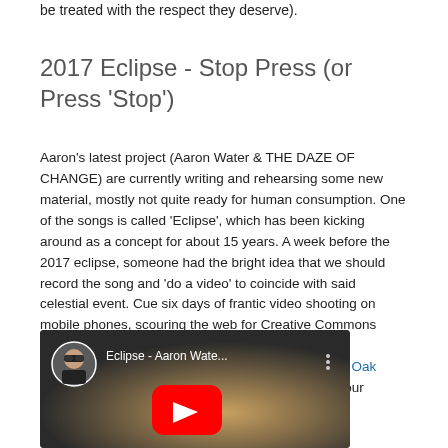be treated with the respect they deserve).
2017 Eclipse - Stop Press (or Press 'Stop')
Aaron's latest project (Aaron Water & THE DAZE OF CHANGE) are currently writing and rehearsing some new material, mostly not quite ready for human consumption. One of the songs is called 'Eclipse', which has been kicking around as a concept for about 15 years. A week before the 2017 eclipse, someone had the bright idea that we should record the song and 'do a video' to coincide with said celestial event. Cue six days of frantic video shooting on mobile phones, scouring the web for Creative Commons footage of eclipses, editing said video and above all recording / mixing the music at the wonderful Broad Oak Studio. The resulting effort is presented below for your amusement:-
[Figure (screenshot): YouTube video thumbnail for 'Eclipse - Aaron Wate...' showing a circular avatar of a person wearing sunglasses, the YouTube play button in red, and a warm glowing background.]